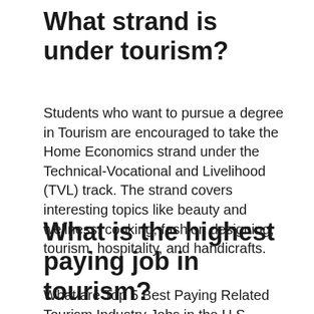What strand is under tourism?
Students who want to pursue a degree in Tourism are encouraged to take the Home Economics strand under the Technical-Vocational and Livelihood (TVL) track. The strand covers interesting topics like beauty and wellness, cooking, fashion designing, tourism, hospitality, and handicrafts.
What is the highest paying job in tourism?
What are Top 5 Best Paying Related Tourism Industry Jobs in the U.S.